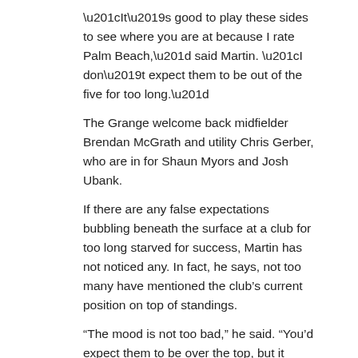“It’s good to play these sides to see where you are at because I rate Palm Beach,” said Martin. “I don’t expect them to be out of the five for too long.”
The Grange welcome back midfielder Brendan McGrath and utility Chris Gerber, who are in for Shaun Myors and Josh Ubank.
If there are any false expectations bubbling beneath the surface at a club for too long starved for success, Martin has not noticed any. In fact, he says, not too many have mentioned the club’s current position on top of standings.
“The mood is not too bad,” he said. “You’d expect them to be over the top, but it hasn’t been like that.
“No one around Wilston-Grange has mentioned that we’re at the top of the ladder.
“Were only taking small steps and this one is a massive challenge. We need these games to see where we’re at.
“I believe we still have a lot of deficiencies that we have to fix up. It’s just a general thing having so many new players.”